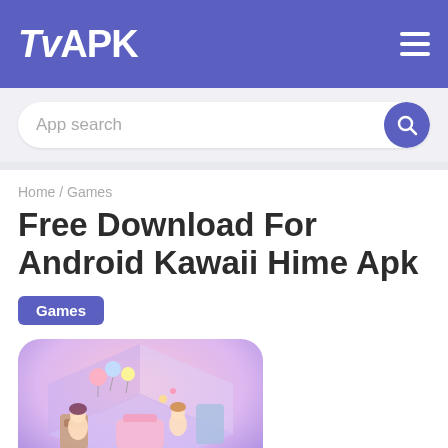TvAPK
App search
Home / Games
Free Download For Android Kawaii Hime Apk
Games
[Figure (screenshot): Screenshot of Kawaii Hime game showing an isometric room decorated with anime-style characters, furniture, and colorful items against a purple/pink background.]